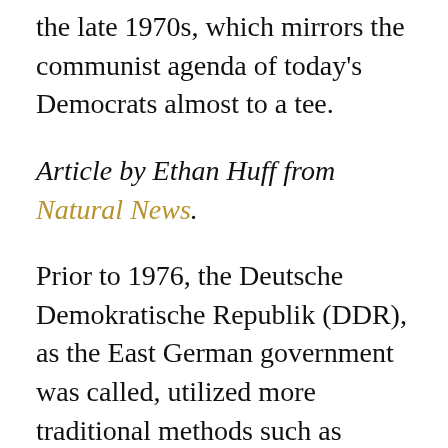the late 1970s, which mirrors the communist agenda of today's Democrats almost to a tee.
Article by Ethan Huff from Natural News.
Prior to 1976, the Deutsche Demokratische Republik (DDR), as the East German government was called, utilized more traditional methods such as gulag-and-torture to silence its opposition – just like communist China continues to do against its political enemies even to this day. This approach worked for a while, but in order to spread communism beyond its borders